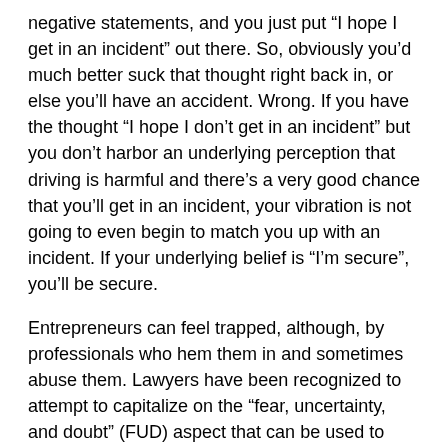negative statements, and you just put “I hope I get in an incident” out there. So, obviously you’d much better suck that thought right back in, or else you’ll have an accident. Wrong. If you have the thought “I hope I don’t get in an incident” but you don’t harbor an underlying perception that driving is harmful and there’s a very good chance that you’ll get in an incident, your vibration is not going to even begin to match you up with an incident. If your underlying belief is “I’m secure”, you’ll be secure.
Entrepreneurs can feel trapped, although, by professionals who hem them in and sometimes abuse them. Lawyers have been recognized to attempt to capitalize on the “fear, uncertainty, and doubt” (FUD) aspect that can be used to scare up company law where none legitimately exists. So it can be unsafe to leave every thing to the specialists without being knowledgeable about their proper role and with out being proactive in handling their activities as your hired